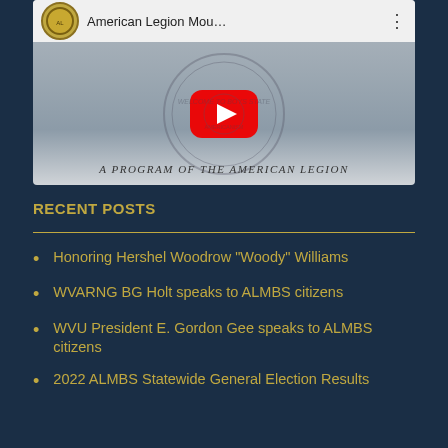[Figure (screenshot): YouTube video thumbnail for 'American Legion Mou...' showing a YouTube player interface with a red play button, an emblem/seal watermark in the background, and text 'A PROGRAM OF THE AMERICAN LEGION' at the bottom]
RECENT POSTS
Honoring Hershel Woodrow “Woody” Williams
WVARNG BG Holt speaks to ALMBS citizens
WVU President E. Gordon Gee speaks to ALMBS citizens
2022 ALMBS Statewide General Election Results